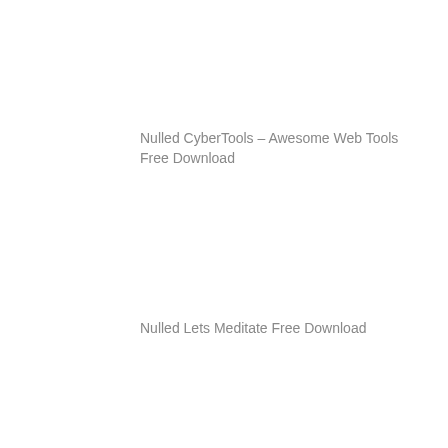Nulled CyberTools – Awesome Web Tools Free Download
Nulled Lets Meditate Free Download